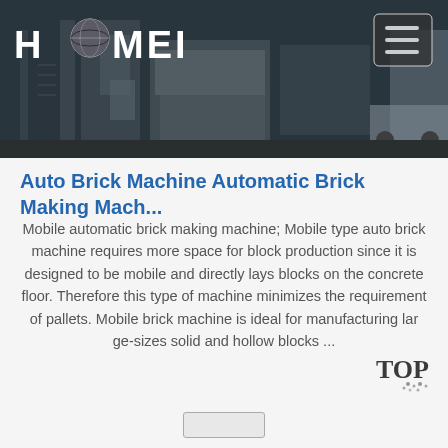[Figure (photo): HAOMEI company logo with globe icon on dark header background, with hamburger menu button in top right corner. Background shows industrial machinery/building photo.]
Auto Brick Machine Automatic Brick Making Mach...
Mobile automatic brick making machine; Mobile type auto brick machine requires more space for block production since it is designed to be mobile and directly lays blocks on the concrete floor. Therefore this type of machine minimizes the requirement of pallets. Mobile brick machine is ideal for manufacturing large-sizes solid and hollow blocks ...